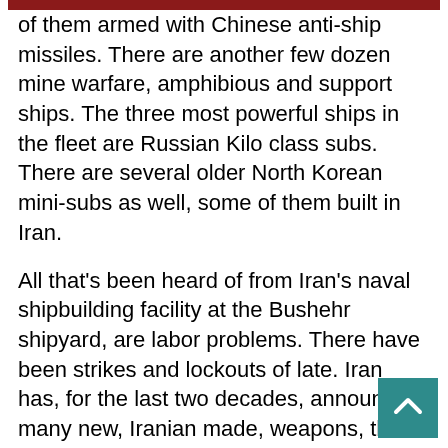of them armed with Chinese anti-ship missiles. There are another few dozen mine warfare, amphibious and support ships. The three most powerful ships in the fleet are Russian Kilo class subs. There are several older North Korean mini-subs as well, some of them built in Iran.
All that's been heard of from Iran's naval shipbuilding facility at the Bushehr shipyard, are labor problems. There have been strikes and lockouts of late. Iran has, for the last two decades, announced many new, Iranian made, weapons, that turned out to be more spin than substance. Iran does have commercial shipbuilding firms, that produce merchant ships that are larger than destroyers. Thus Iran could build something that looks like a destroyer, and they may indeed have a larger (than 1,500 tons) warship under construction. Filling this warship with adequate